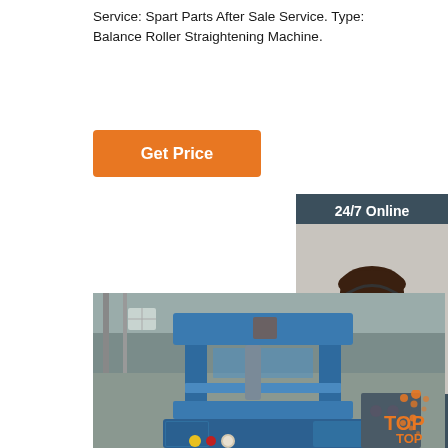Service: Spart Parts After Sale Service. Type: Balance Roller Straightening Machine.
[Figure (other): Orange 'Get Price' button]
[Figure (other): Sidebar panel with '24/7 Online' label, agent photo with headset, 'Click here for free chat!' text, and orange 'QUOTATION' button on dark blue background]
[Figure (photo): Blue industrial Balance Roller Straightening Machine in a factory setting, with yellow and red control buttons and a pressure gauge visible at the bottom left. A 'TOP' logo with orange dots appears in the bottom right corner.]